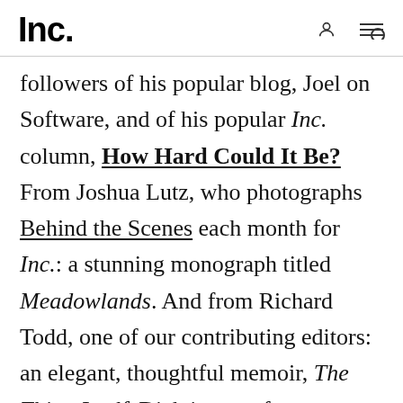Inc.
followers of his popular blog, Joel on Software, and of his popular Inc. column, How Hard Could It Be? From Joshua Lutz, who photographs Behind the Scenes each month for Inc.: a stunning monograph titled Meadowlands. And from Richard Todd, one of our contributing editors: an elegant, thoughtful memoir, The Thing Itself. Dick is one of my particular favorites.
Article continues after video.